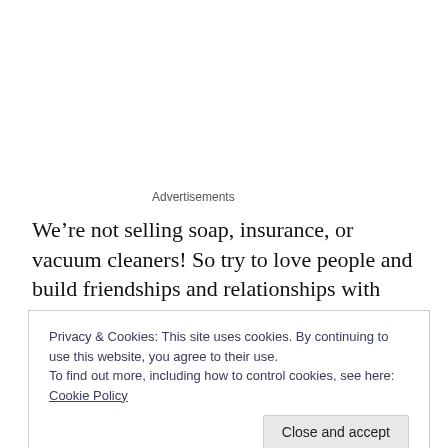Advertisements
We’re not selling soap, insurance, or vacuum cleaners! So try to love people and build friendships and relationships with them. THAT is how we reach people.

Our job is only to speak the truth in love. That’s what Jesus did. There is nowhere in the New Testament where Jesus spoke down to sinners. In fact, he welcomed them
Privacy & Cookies: This site uses cookies. By continuing to use this website, you agree to their use.
To find out more, including how to control cookies, see here: Cookie Policy
Close and accept